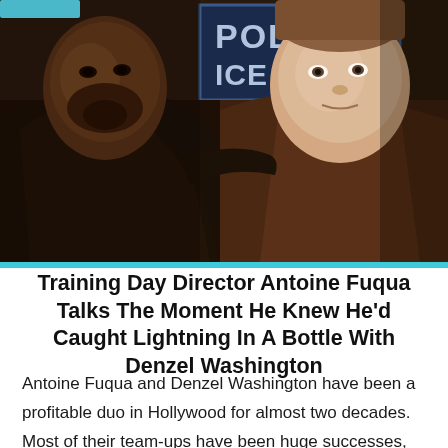[Figure (photo): Two men in a dramatic scene in front of a police station sign. Left man is African American wearing a dark leather jacket, right man is Caucasian wearing a brown hoodie. Both looking toward camera with serious expressions.]
Training Day Director Antoine Fuqua Talks The Moment He Knew He'd Caught Lightning In A Bottle With Denzel Washington
Antoine Fuqua and Denzel Washington have been a profitable duo in Hollywood for almost two decades. Most of their team-ups have been huge successes, from Training Day